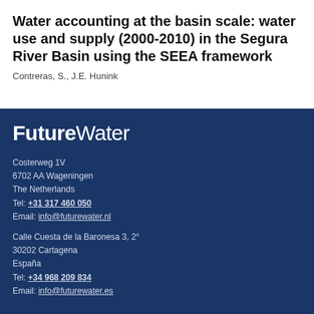Water accounting at the basin scale: water use and supply (2000-2010) in the Segura River Basin using the SEEA framework
Contreras, S., J.E. Hunink
[Figure (logo): FutureWater logo in white text on dark blue background]
Costerweg 1V
6702 AA Wageningen
The Netherlands
Tel: +31 317 460 050
Email: info@futurewater.nl
Calle Cuesta de la Baronesa 3, 2°
30202 Cartagena
España
Tel: +34 968 209 834
Email: info@futurewater.es